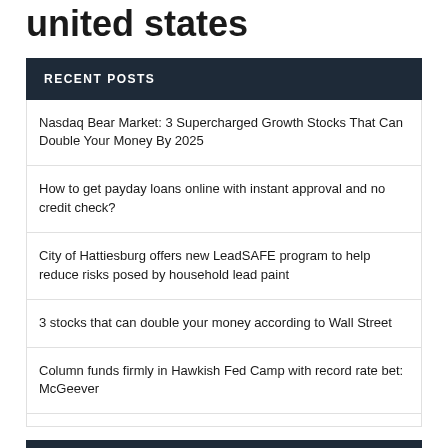united states
RECENT POSTS
Nasdaq Bear Market: 3 Supercharged Growth Stocks That Can Double Your Money By 2025
How to get payday loans online with instant approval and no credit check?
City of Hattiesburg offers new LeadSAFE program to help reduce risks posed by household lead paint
3 stocks that can double your money according to Wall Street
Column funds firmly in Hawkish Fed Camp with record rate bet: McGeever